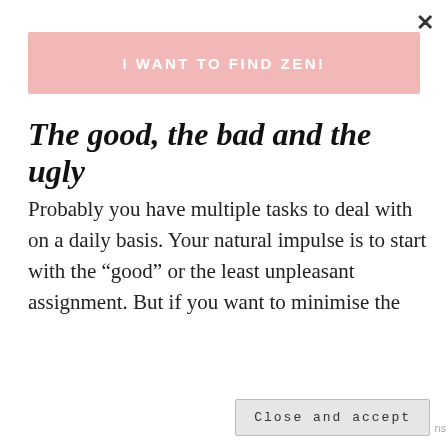[Figure (other): Close (X) button in top right corner of modal overlay]
[Figure (other): Pink CTA button with text 'I WANT TO FIND ZEN!']
The good, the bad and the ugly
Probably you have multiple tasks to deal with on a daily basis. Your natural impulse is to start with the “good” or the least unpleasant assignment. But if you want to minimise the possibility of postponing, you should do the
Privacy & Cookies: This site uses cookies. By continuing to use this website, you agree to their use.
To find out more, including how to control cookies, see here: Cookie Policy
[Figure (other): Close and accept button for cookie banner]